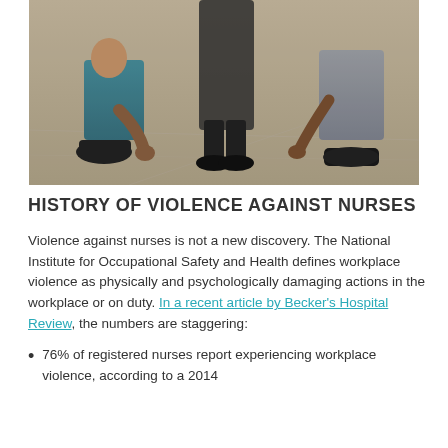[Figure (photo): Two people crouching down on a sidewalk/pavement, one wearing teal scrub pants and black sneakers, another in gray pants and black shoes. Appears to be healthcare workers outdoors.]
HISTORY OF VIOLENCE AGAINST NURSES
Violence against nurses is not a new discovery. The National Institute for Occupational Safety and Health defines workplace violence as physically and psychologically damaging actions in the workplace or on duty. In a recent article by Becker's Hospital Review, the numbers are staggering:
76% of registered nurses report experiencing workplace violence, according to a 2014